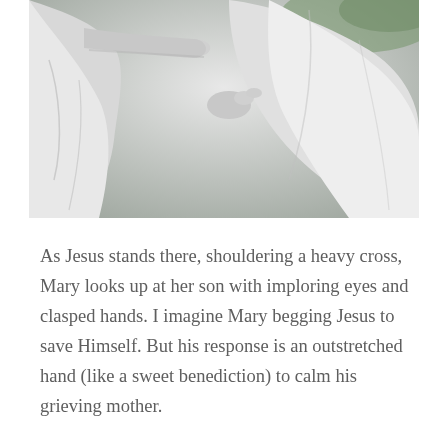[Figure (photo): Close-up photograph of white religious statues — Jesus shouldering a cross and Mary with clasped hands looking up, rendered in weathered white stone/plaster with green foliage visible in background.]
As Jesus stands there, shouldering a heavy cross, Mary looks up at her son with imploring eyes and clasped hands. I imagine Mary begging Jesus to save Himself. But his response is an outstretched hand (like a sweet benediction) to calm his grieving mother.